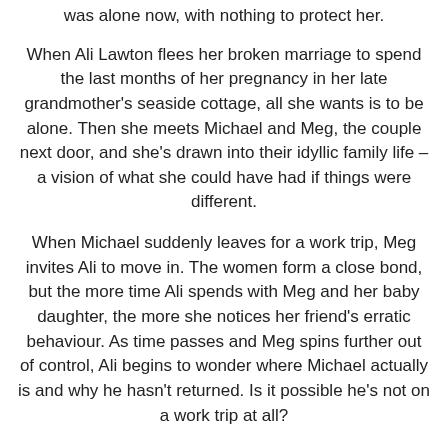was alone now, with nothing to protect her.
When Ali Lawton flees her broken marriage to spend the last months of her pregnancy in her late grandmother's seaside cottage, all she wants is to be alone. Then she meets Michael and Meg, the couple next door, and she's drawn into their idyllic family life – a vision of what she could have had if things were different.
When Michael suddenly leaves for a work trip, Meg invites Ali to move in. The women form a close bond, but the more time Ali spends with Meg and her baby daughter, the more she notices her friend's erratic behaviour. As time passes and Meg spins further out of control, Ali begins to wonder where Michael actually is and why he hasn't returned. Is it possible he's not on a work trip at all?
When Ali gives Meg a beloved childhood toy as a peace offering, she hopes it will give the friends a chance to heal. But Meg becomes distressed when she sees the toy and it's